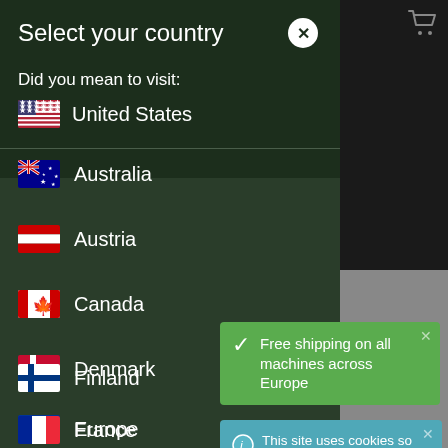Select your country
Did you mean to visit:
United States
Australia
Austria
Canada
Denmark
Europe
Finland
France
Free shipping on all machines across Europe
This site uses cookies so we can provide you with the best possible user experience. By continuing to use this website you are giving consent to cookies being used.
Click here to learn more